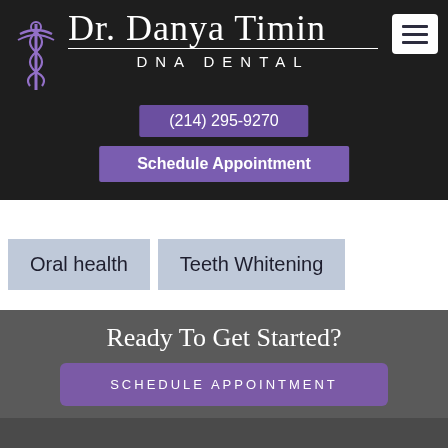[Figure (logo): Caduceus medical staff symbol in purple with Dr. Danya Timin script text and DNA Dental subtitle, dark background header]
(214) 295-9270
Schedule Appointment
Oral health
Teeth Whitening
Ready To Get Started?
SCHEDULE APPOINTMENT